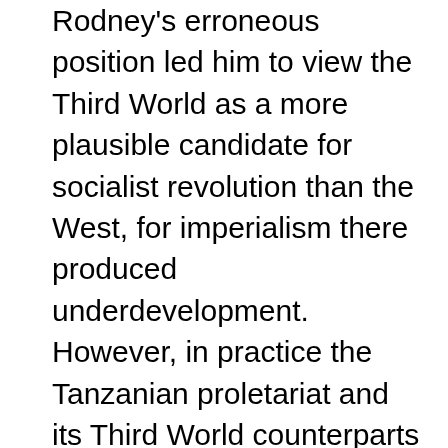Rodney's erroneous position led him to view the Third World as a more plausible candidate for socialist revolution than the West, for imperialism there produced underdevelopment. However, in practice the Tanzanian proletariat and its Third World counterparts often proved unable to organise their self-emancipation after colonialism. Tanzanian underdevelopment meant that most workers remained tied to their land in the countryside; they lacked organisational experience and faced the burden of illiteracy. The leading role in the struggle against imperialism hence fell to the educated local elite. They did not implement socialism but consolidated state power, encouraging the masses to work harder in order to compete with more powerful nations. The rise of the bureaucracy in the Global South mirrored what happened in the Soviet Union after the